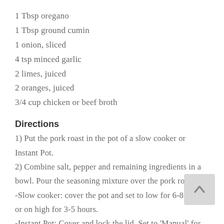1 Tbsp oregano
1 Tbsp ground cumin
1 onion, sliced
4 tsp minced garlic
2 limes, juiced
2 oranges, juiced
3/4 cup chicken or beef broth
Directions
1) Put the pork roast in the pot of a slow cooker or Instant Pot.
2) Combine salt, pepper and remaining ingredients in a bowl. Pour the seasoning mixture over the pork roast.
-Slow cooker: cover the pot and set to low for 6-8 hours or on high for 3-5 hours.
-Instant Pot: Cover and lock the lid. Set to 'Manual' for 75 minutes. Allow to naturally release pressure.